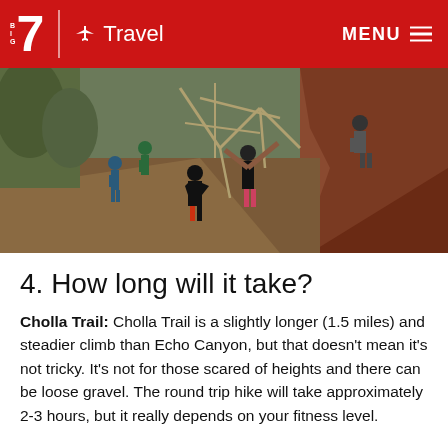7 Travel MENU
[Figure (photo): Aerial view of hikers climbing a steep rocky trail with metal rail structures on Camelback Mountain, red rocky terrain visible]
4. How long will it take?
Cholla Trail: Cholla Trail is a slightly longer (1.5 miles) and steadier climb than Echo Canyon, but that doesn't mean it's not tricky. It's not for those scared of heights and there can be loose gravel. The round trip hike will take approximately 2-3 hours, but it really depends on your fitness level.